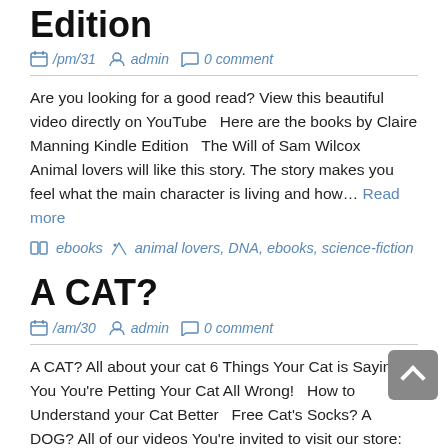Edition
/pm/31   admin   0 comment
Are you looking for a good read? View this beautiful video directly on YouTube   Here are the books by Claire Manning Kindle Edition   The Will of Sam Wilcox     Animal lovers will like this story. The story makes you feel what the main character is living and how… Read more
ebooks   animal lovers, DNA, ebooks, science-fiction
A CAT?
/am/30   admin   0 comment
A CAT? All about your cat 6 Things Your Cat is Saying to You   You're Petting Your Cat All Wrong!   How to Understand your Cat Better   Free Cat's Socks? A DOG? All of our videos   You're invited to visit our store: https://ecolo-luca.com   Thanks for your… Read more